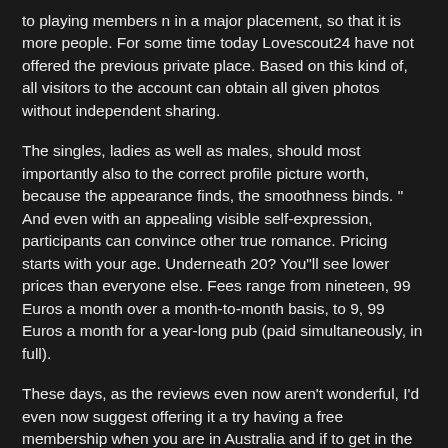to playing members n in a major placement, so that it is more people. For some time today Lovescout24 have not offered the previous private place. Based on this kind of, all visitors to the account can obtain all given photos without independent sharing.
The singles, ladies as well as males, should most importantly also to the correct profile picture worth, because the appearance finds, the smoothness binds. " And even with an appealing visible self-expression, participants can convince other true romance. Pricing starts with your age. Underneath 20? You"ll see lower prices than everyone else. Fees range from nineteen, 99 Euros a month over a month-to-month basis, to 9, 99 Euros a month for a year-long pub (paid simultaneously, in full).
These days, as the reviews even now aren't wonderful, I'd even now suggest offering it a try having a free membership when you are in Australia and if to get in the under 30 age bracket. With a account of more than 6 million people, it is very possible to get the right partner. There are a few important criteria that increase your chances of success.
Focused on non-English words speaking singles, a LoveScout24